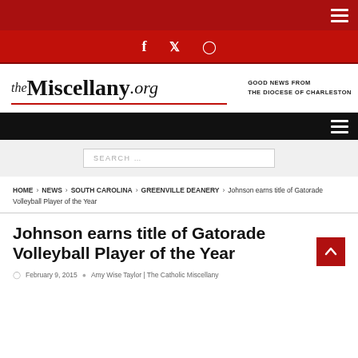theMiscellany.org — GOOD NEWS FROM THE DIOCESE OF CHARLESTON
HOME > NEWS > SOUTH CAROLINA > GREENVILLE DEANERY > Johnson earns title of Gatorade Volleyball Player of the Year
Johnson earns title of Gatorade Volleyball Player of the Year
February 9, 2015 · Amy Wise Taylor | The Catholic Miscellany